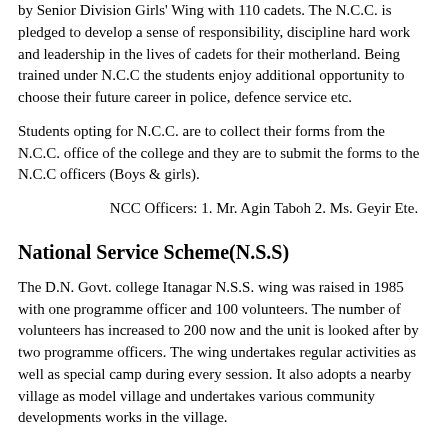by Senior Division Girls' Wing with 110 cadets. The N.C.C. is pledged to develop a sense of responsibility, discipline hard work and leadership in the lives of cadets for their motherland. Being trained under N.C.C the students enjoy additional opportunity to choose their future career in police, defence service etc.
Students opting for N.C.C. are to collect their forms from the N.C.C. office of the college and they are to submit the forms to the N.C.C officers (Boys & girls).
NCC Officers: 1. Mr. Agin Taboh 2. Ms. Geyir Ete.
National Service Scheme(N.S.S)
The D.N. Govt. college Itanagar N.S.S. wing was raised in 1985 with one programme officer and 100 volunteers. The number of volunteers has increased to 200 now and the unit is looked after by two programme officers. The wing undertakes regular activities as well as special camp during every session. It also adopts a nearby village as model village and undertakes various community developments works in the village.